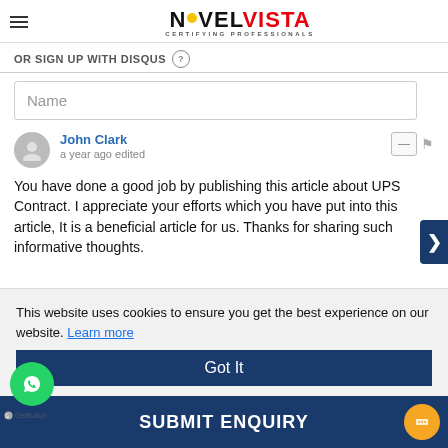NOVELVISTA CERTIFYING PROFESSIONALS
OR SIGN UP WITH DISQUS
Name
John Clark
a year ago edited
You have done a good job by publishing this article about UPS Contract. I appreciate your efforts which you have put into this article, It is a beneficial article for us. Thanks for sharing such informative thoughts.
This website uses cookies to ensure you get the best experience on our website. Learn more
Got It
SUBMIT ENQUIRY